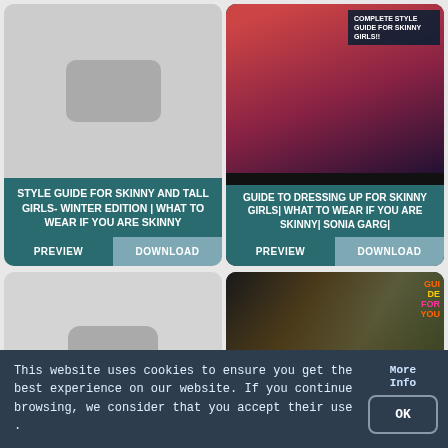[Figure (screenshot): Video thumbnail placeholder (grey) for Style Guide for Skinny and Tall Girls Winter Edition]
STYLE GUIDE FOR SKINNY AND TALL GIRLS- WINTER EDITION | WHAT TO WEAR IF YOU ARE SKINNY
PREVIEW
DOWNLOAD
[Figure (photo): Photo thumbnail showing a girl holding a sign: COMPLETE STYLE GUIDE FOR SKINNY GIRLS!!]
GUIDE TO DRESSING UP FOR SKINNY GIRLS| WHAT TO WEAR IF YOU ARE SKINNY| SONIA GARG|
PREVIEW
DOWNLOAD
[Figure (screenshot): Video thumbnail placeholder (grey) with loading dots]
[Figure (photo): Photo thumbnail showing three women in fashionable outfits with SKINNY text overlay]
This website uses cookies to ensure you get the best experience on our website. If you continue browsing, we consider that you accept their use .
More Info
OK